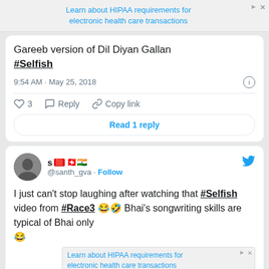[Figure (screenshot): Ad banner: Learn about HIPAA requirements for electronic health care transactions]
Gareeb version of Dil Diyan Gallan #Selfish
9:54 AM · May 25, 2018
♡ 3   Reply   Copy link
Read 1 reply
[Figure (screenshot): Twitter profile avatar for @santh_gva]
s 🇨🇭🇮🇳 @santh_gva · Follow
I just can't stop laughing after watching that #Selfish video from #Race3 😂🤣 Bhai's songwriting skills are typical of Bhai only 😂
[Figure (screenshot): Ad banner: Learn about HIPAA requirements for electronic health care transactions]
#Uni